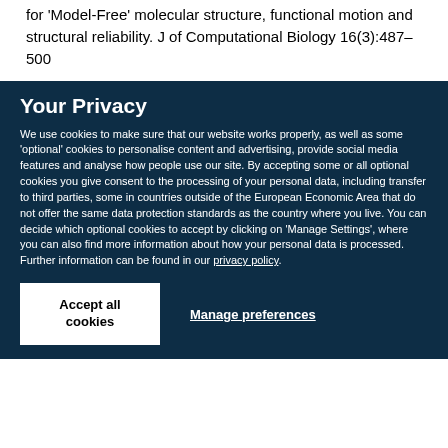for 'Model-Free' molecular structure, functional motion and structural reliability. J of Computational Biology 16(3):487–500
Your Privacy
We use cookies to make sure that our website works properly, as well as some 'optional' cookies to personalise content and advertising, provide social media features and analyse how people use our site. By accepting some or all optional cookies you give consent to the processing of your personal data, including transfer to third parties, some in countries outside of the European Economic Area that do not offer the same data protection standards as the country where you live. You can decide which optional cookies to accept by clicking on 'Manage Settings', where you can also find more information about how your personal data is processed. Further information can be found in our privacy policy.
Accept all cookies
Manage preferences